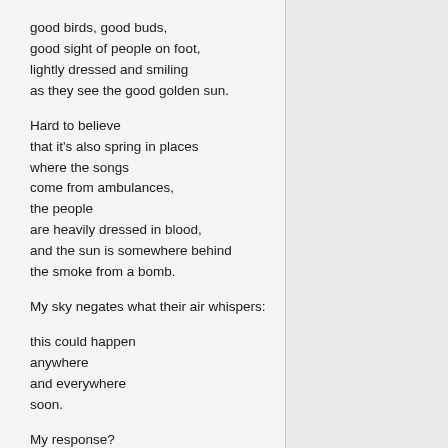good birds, good buds,
good sight of people on foot,
lightly dressed and smiling
as they see the good golden sun.
Hard to believe
that it's also spring in places
where the songs
come from ambulances,
the people
are heavily dressed in blood,
and the sun is somewhere behind
the smoke from a bomb.
My sky negates what their air whispers:
this could happen
anywhere
and everywhere
soon.
My response?
I go outside
and plant a seed.